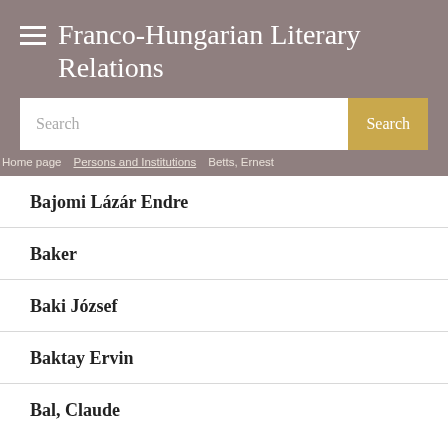Franco-Hungarian Literary Relations
Search
Home page > Persons and Institutions > Betts, Ernest
Bajomi Lázár Endre
Baker
Baki József
Baktay Ervin
Bal, Claude